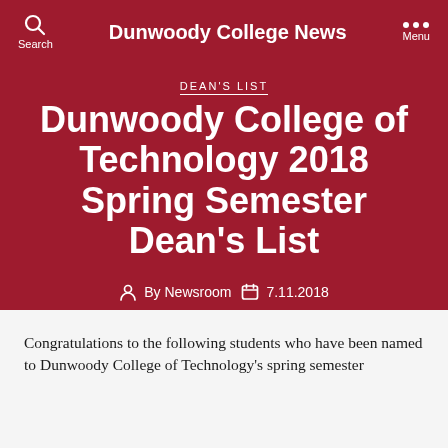Dunwoody College News
DEAN'S LIST
Dunwoody College of Technology 2018 Spring Semester Dean's List
By Newsroom  7.11.2018
Congratulations to the following students who have been named to Dunwoody College of Technology's spring semester